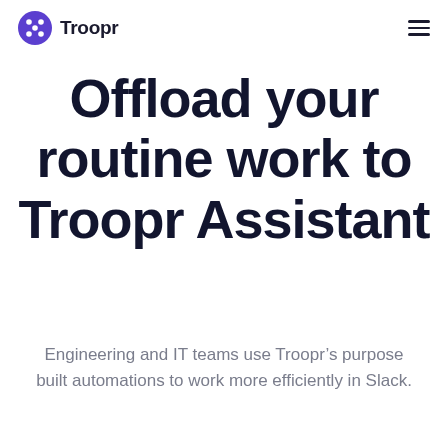Troopr
Offload your routine work to Troopr Assistant
Engineering and IT teams use Troopr’s purpose built automations to work more efficiently in Slack.